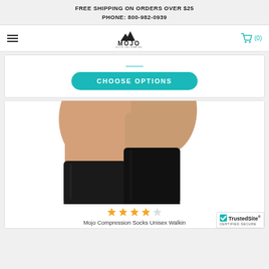FREE SHIPPING ON ORDERS OVER $25
PHONE: 800-982-0939
[Figure (logo): Mojo brand logo with mountain triangle icon and tagline 'ELITE LEG PUMPING']
CHOOSE OPTIONS
[Figure (photo): Person wearing black compression socks, showing lower legs from knee down against white background]
[Figure (other): Star rating: 4 out of 5 stars in gold/yellow]
Mojo Compression Socks Unisex Walkin
[Figure (other): TrustedSite CERTIFIED SECURE badge]